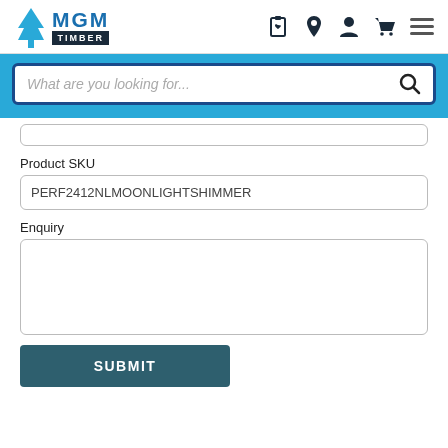[Figure (logo): MGM Timber logo with tree icon and text MGM TIMBER]
[Figure (screenshot): Search bar with placeholder text 'What are you looking for...' and search icon, on a blue background]
Product SKU
PERF2412NLMOONLIGHTSHIMMER
Enquiry
SUBMIT